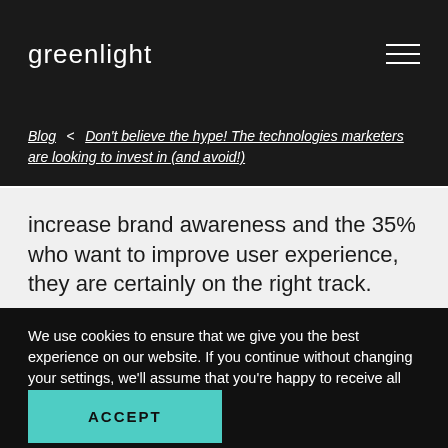greenlight
Blog < Don't believe the hype! The technologies marketers are looking to invest in (and avoid!)
increase brand awareness and the 35% who want to improve user experience, they are certainly on the right track.
We use cookies to ensure that we give you the best experience on our website. If you continue without changing your settings, we'll assume that you're happy to receive all cookies from this website. Find out more.
ACCEPT